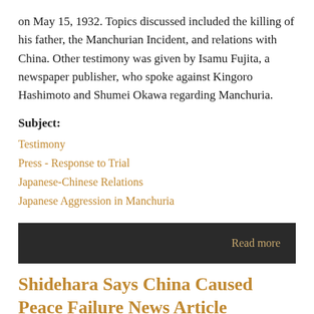on May 15, 1932. Topics discussed included the killing of his father, the Manchurian Incident, and relations with China. Other testimony was given by Isamu Fujita, a newspaper publisher, who spoke against Kingoro Hashimoto and Shumei Okawa regarding Manchuria.
Subject:
Testimony
Press - Response to Trial
Japanese-Chinese Relations
Japanese Aggression in Manchuria
Read more
Shidehara Says China Caused Peace Failure News Article